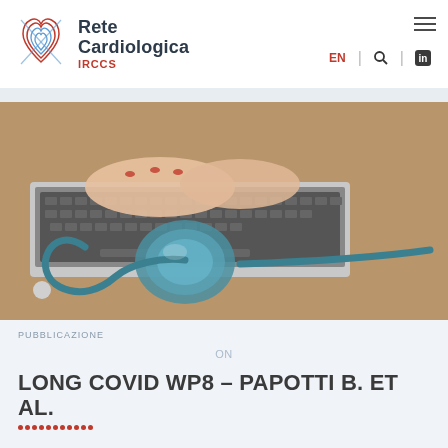[Figure (logo): Rete Cardiologica IRCCS logo with stylized heart icon in red/blue]
[Figure (photo): Hands typing on a laptop with a stethoscope in the foreground on a desk]
On
LONG COVID WP8 – PAPOTTI B. ET AL.